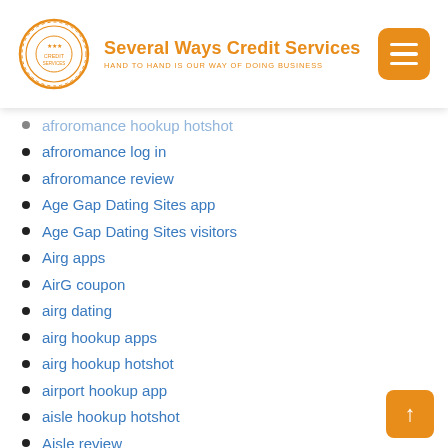Several Ways Credit Services — HAND TO HAND IS OUR WAY OF DOING BUSINESS
afroromance hookup hotshot
afroromance log in
afroromance review
Age Gap Dating Sites app
Age Gap Dating Sites visitors
Airg apps
AirG coupon
airg dating
airg hookup apps
airg hookup hotshot
airport hookup app
aisle hookup hotshot
Aisle review
Alabama Online Payday Loans
Alabama payday loans
Alabama Payday Loans Near Me
Alabama payday loans online
Alaska Best Online Payday Loans
Alaska Payday Loan